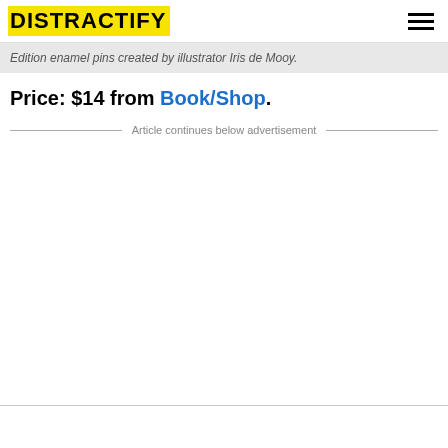DISTRACTIFY
Edition enamel pins created by illustrator Iris de Mooy.
Price: $14 from Book/Shop.
Article continues below advertisement